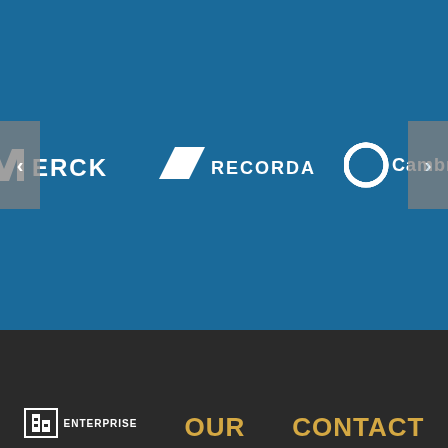[Figure (other): Blue background carousel/slider showing logos of Merck, Recordati, and Cambrex pharmaceutical companies with left and right navigation arrows]
[Figure (logo): Enterprise logo (bottom left) with icon and text, plus OUR (center) and CONTACT (right) text in gold/yellow on dark background footer]